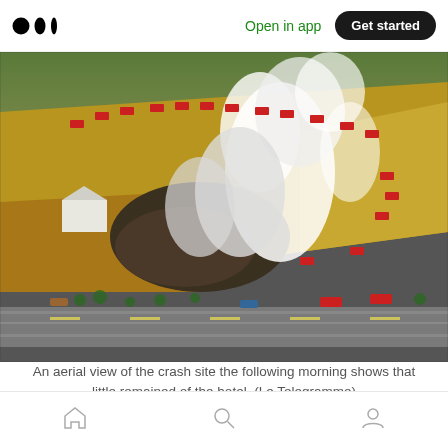Medium logo | Open in app | Get started
[Figure (photo): An aerial photograph of a crash site the following morning, showing fire trucks and emergency vehicles surrounding a debris field with heavy white smoke rising from the wreckage. Fields of grain surround the site, a white building is visible on the left, and a highway runs along the bottom of the image.]
An aerial view of the crash site the following morning shows that little remained of the hotel. (Le Telegramme)
Navigation bar with home, search, and profile icons